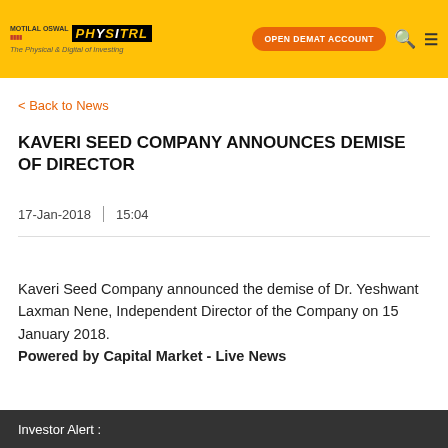[Figure (logo): Motilal Oswal Physitrl logo with tagline 'The Physical & Digital of Investing']
< Back to News
KAVERI SEED COMPANY ANNOUNCES DEMISE OF DIRECTOR
17-Jan-2018  |  15:04
Kaveri Seed Company announced the demise of Dr. Yeshwant Laxman Nene, Independent Director of the Company on 15 January 2018.
Powered by Capital Market - Live News
Investor Alert :